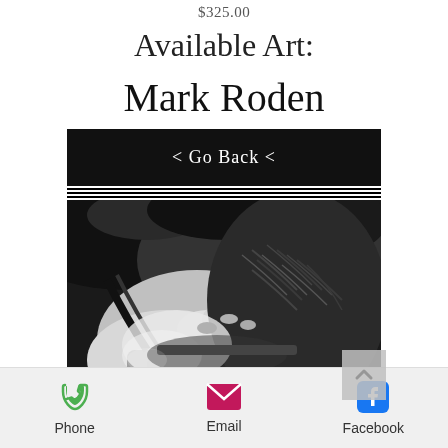$325.00
Available Art:
Mark Roden
< Go Back <
[Figure (photo): Black and white close-up photo of a person's hand gripping a camera, with the back of their head and hair visible in the right portion of the image.]
Phone   Email   Facebook